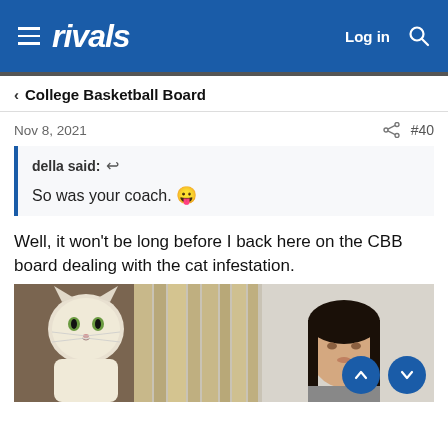rivals — Log in
< College Basketball Board
Nov 8, 2021   #40
della said: ↩

So was your coach. 😬
Well, it won't be long before I back here on the CBB board dealing with the cat infestation.
[Figure (photo): Photo of a white cat peeking around a door frame on the left, and a woman with dark hair on the right side, appearing to be from The Shining movie scene.]